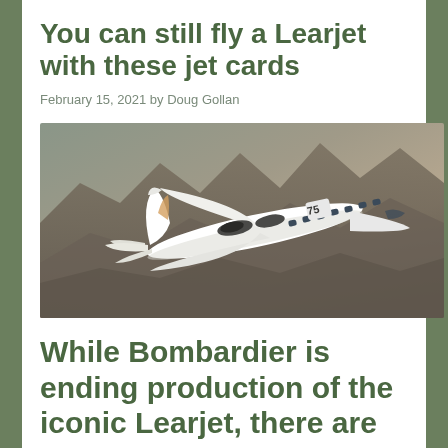You can still fly a Learjet with these jet cards
February 15, 2021 by Doug Gollan
[Figure (photo): A white Learjet 75 private jet flying over rocky mountainous terrain, aerial view from above and to the side.]
While Bombardier is ending production of the iconic Learjet, there are